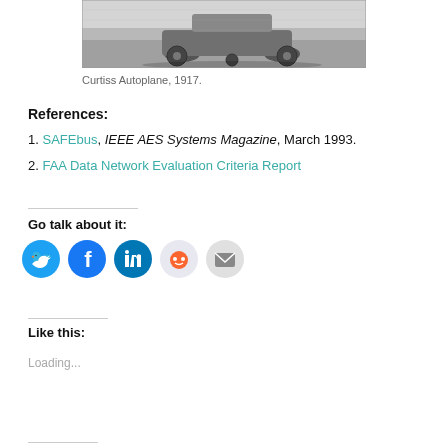[Figure (photo): Black and white photograph of the Curtiss Autoplane, 1917, a three-wheeled vehicle on a field.]
Curtiss Autoplane, 1917.
References:
1. SAFEbus, IEEE AES Systems Magazine, March 1993.
2. FAA Data Network Evaluation Criteria Report
Go talk about it:
[Figure (infographic): Social media sharing icons: Twitter, Facebook, LinkedIn, Reddit, Email]
Like this:
Loading...